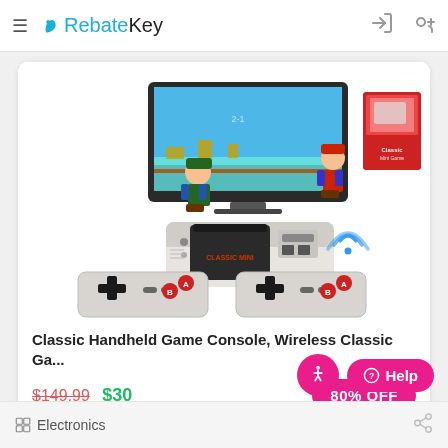RebateKey
[Figure (photo): Product image of a Classic Handheld Game Console set showing Mario and Luigi characters on a TV screen, the NES-style console unit, two wireless controllers, and the product box in red packaging with a WiFi symbol.]
Classic Handheld Game Console, Wireless Classic Ga...
$149.99 $30
80% OFF
Electronics